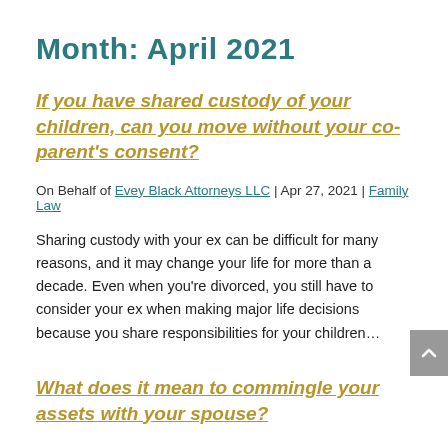Month: April 2021
If you have shared custody of your children, can you move without your co-parent's consent?
On Behalf of Evey Black Attorneys LLC | Apr 27, 2021 | Family Law
Sharing custody with your ex can be difficult for many reasons, and it may change your life for more than a decade. Even when you're divorced, you still have to consider your ex when making major life decisions because you share responsibilities for your children...
What does it mean to commingle your assets with your spouse?